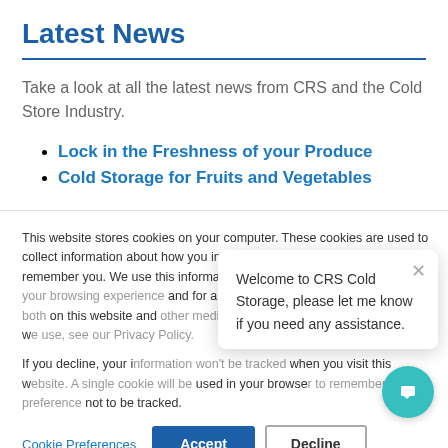Latest News
Take a look at all the latest news from CRS and the Cold Store Industry.
Lock in the Freshness of your Produce
Cold Storage for Fruits and Vegetables
This website stores cookies on your computer. These cookies are used to collect information about how you interact with our website and allow us to remember you. We use this information in order to improve and customize your browsing experience and for analytics and metrics about our visitors both on this website and other media. To find out more about the cookies we use, see our Privacy Policy.
If you decline, your information won't be tracked when you visit this website. A single cookie will be used in your browser to remember your preference not to be tracked.
Cookie Preferences
Accept
Decline
Welcome to CRS Cold Storage, please let me know if you need any assistance.